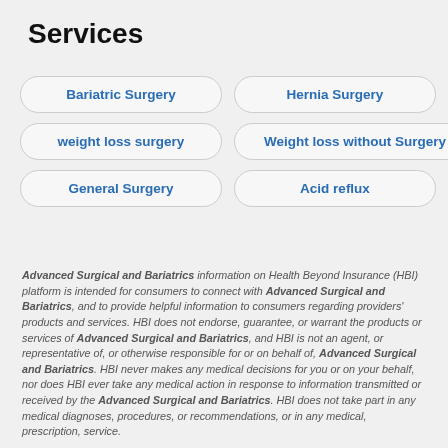Services
Bariatric Surgery
Hernia Surgery
weight loss surgery
Weight loss without Surgery
General Surgery
Acid reflux
Advanced Surgical and Bariatrics information on Health Beyond Insurance (HBI) platform is intended for consumers to connect with Advanced Surgical and Bariatrics, and to provide helpful information to consumers regarding providers' products and services. HBI does not endorse, guarantee, or warrant the products or services of Advanced Surgical and Bariatrics, and HBI is not an agent, or representative of, or otherwise responsible for or on behalf of, Advanced Surgical and Bariatrics. HBI never makes any medical decisions for you or on your behalf, nor does HBI ever take any medical action in response to information transmitted or received by the Advanced Surgical and Bariatrics. HBI does not take part in any medical diagnoses, procedures, or recommendations, or in any medical, prescription, service.